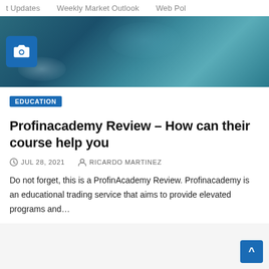t Updates   Weekly Market Outlook   Web Pol
[Figure (photo): Blurred teal/blue abstract hero image with a blue camera icon badge in the lower left corner]
EDUCATION
Profinacademy Review – How can their course help you
JUL 28, 2021   RICARDO MARTINEZ
Do not forget, this is a ProfinAcademy Review. Profinacademy is an educational trading service that aims to provide elevated programs and…